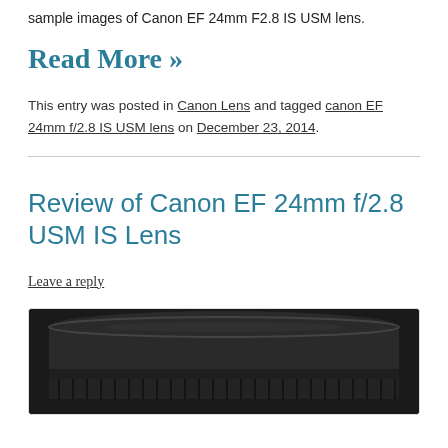sample images of Canon EF 24mm F2.8 IS USM lens.
Read More »
This entry was posted in Canon Lens and tagged canon EF 24mm f/2.8 IS USM lens on December 23, 2014.
Review of Canon EF 24mm f/2.8 USM IS Lens
Leave a reply
[Figure (photo): Photo of Canon EF 24mm f/2.8 IS USM lens body, shown close-up from the front, black cylindrical lens with ribbed focus ring.]